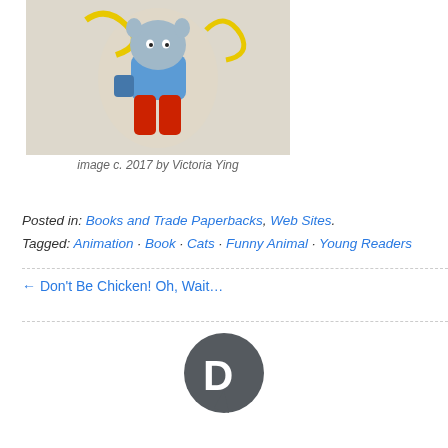[Figure (illustration): Illustrated character image, appears to be a colorful cartoon animal figure wearing red pants and blue jacket with yellow accents]
image c. 2017 by Victoria Ying
Posted in: Books and Trade Paperbacks, Web Sites.
Tagged: Animation · Book · Cats · Funny Animal · Young Readers
← Don't Be Chicken! Oh, Wait…
[Figure (logo): Disqus logo — dark grey speech bubble circle with letter D]